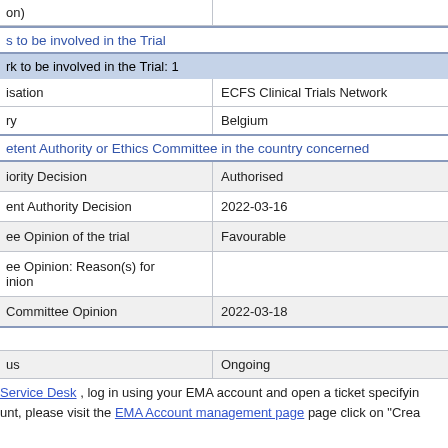| on) |  |
| s to be involved in the Trial |  |
| rk to be involved in the Trial: 1 |  |
| isation | ECFS Clinical Trials Network |
| ry | Belgium |
| etent Authority or Ethics Committee in the country concerned |  |
| iority Decision | Authorised |
| ent Authority Decision | 2022-03-16 |
| ee Opinion of the trial | Favourable |
| ee Opinion: Reason(s) for
inion |  |
| Committee Opinion | 2022-03-18 |
| us | Ongoing |
Service Desk , log in using your EMA account and open a ticket specifying unt, please visit the EMA Account management page page click on "Crea